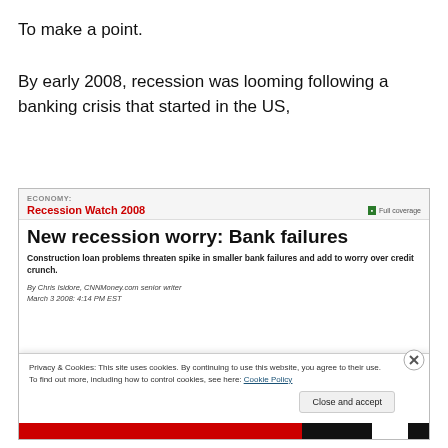To make a point.
By early 2008, recession was looming following a banking crisis that started in the US,
[Figure (screenshot): Screenshot of a CNNMoney.com article page titled 'New recession worry: Bank failures' under the Recession Watch 2008 section, with a cookie consent overlay showing 'Privacy & Cookies: This site uses cookies. By continuing to use this website, you agree to their use. To find out more, including how to control cookies, see here: Cookie Policy' and a 'Close and accept' button.]